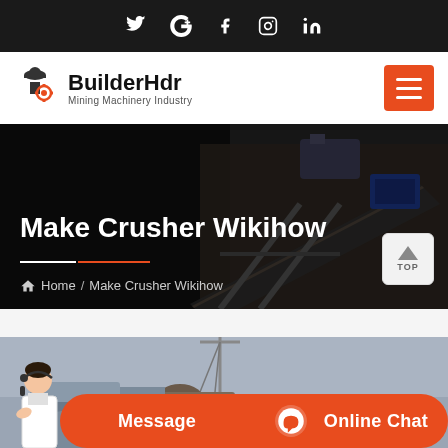Social icons: Twitter, Google+, Facebook, Instagram, LinkedIn
[Figure (logo): BuilderHdr Mining Machinery Industry logo with worker/gear icon]
Make Crusher Wikihow
Home / Make Crusher Wikihow
[Figure (photo): Industrial mining/construction machinery site with crane and equipment]
Message   Online Chat